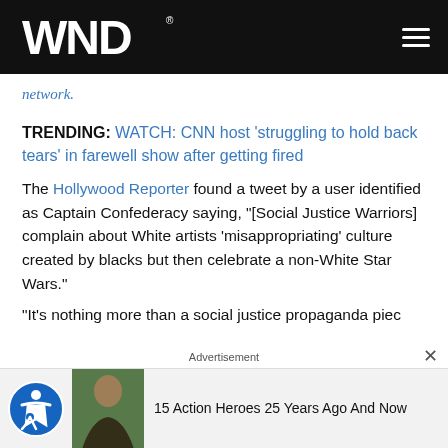WND
network.
TRENDING: WATCH: CNN host 'struggling to hold back tears' in farewell show after getting fired
The Hollywood Reporter found a tweet by a user identified as Captain Confederacy saying, "[Social Justice Warriors] complain about White artists 'misappropriating' culture created by blacks but then celebrate a non-White Star Wars."
"It's nothing more than a social justice propaganda piec
[Figure (screenshot): Advertisement banner at bottom with accessibility icon, photo of woman, and text '15 Action Heroes 25 Years Ago And Now']